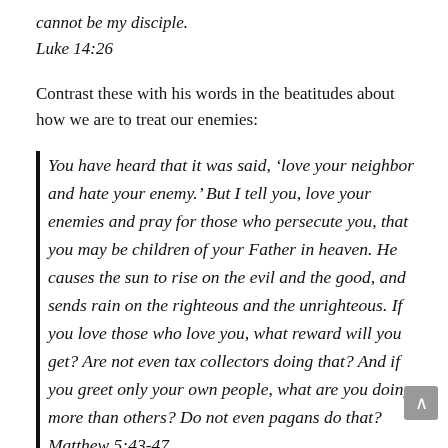cannot be my disciple.
Luke 14:26
Contrast these with his words in the beatitudes about how we are to treat our enemies:
You have heard that it was said, ‘love your neighbor and hate your enemy.’ But I tell you, love your enemies and pray for those who persecute you, that you may be children of your Father in heaven. He causes the sun to rise on the evil and the good, and sends rain on the righteous and the unrighteous. If you love those who love you, what reward will you get? Are not even tax collectors doing that? And if you greet only your own people, what are you doing more than others? Do not even pagans do that?
Matthew 5:43-47